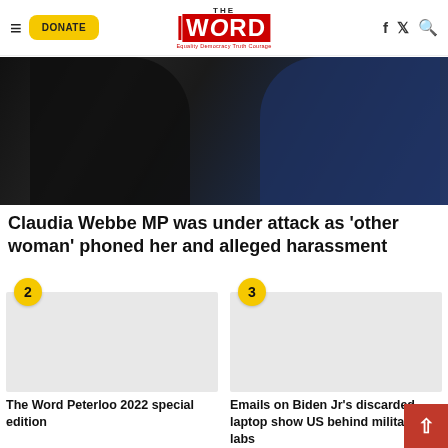THE WORD — Equality Democracy Truth Courage — navigation header with DONATE button
[Figure (photo): Close-up photograph of two people in formal jackets, appears to be a handshake or encounter scene]
Claudia Webbe MP was under attack as 'other woman' phoned her and alleged harassment
[Figure (photo): Article card #2 — image placeholder for The Word Peterloo 2022 special edition]
The Word Peterloo 2022 special edition
[Figure (photo): Article card #3 — image placeholder for Emails on Biden Jr's discarded laptop show US behind military bio labs]
Emails on Biden Jr's discarded laptop show US behind military bio labs